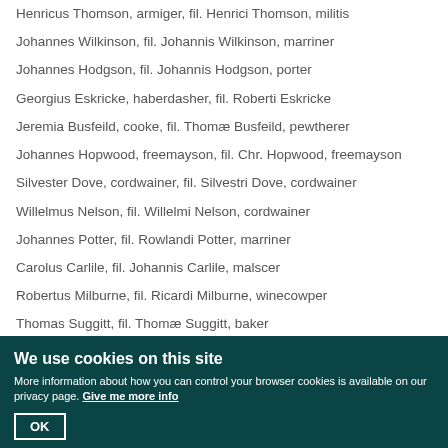Henricus Thomson, armiger, fil. Henrici Thomson, militis
Johannes Wilkinson, fil. Johannis Wilkinson, marriner
Johannes Hodgson, fil. Johannis Hodgson, porter
Georgius Eskricke, haberdasher, fil. Roberti Eskricke
Jeremia Busfeild, cooke, fil. Thomæ Busfeild, pewtherer
Johannes Hopwood, freemayson, fil. Chr. Hopwood, freemayson
Silvester Dove, cordwainer, fil. Silvestri Dove, cordwainer
Willelmus Nelson, fil. Willelmi Nelson, cordwainer
Johannes Potter, fil. Rowlandi Potter, marriner
Carolus Carlile, fil. Johannis Carlile, malscer
Robertus Milburne, fil. Ricardi Milburne, winecowper
Thomas Suggitt, fil. Thomæ Suggitt, baker
Radulphus Day, fil. Willelmi Day, winecowper
We use cookies on this site
More information about how you can control your browser cookies is available on our privacy page. Give me more info
OK